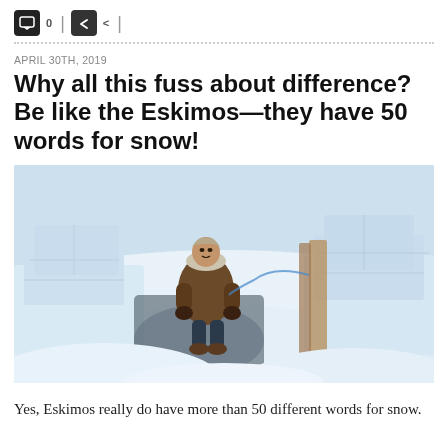APRIL 30TH, 2019
Why all this fuss about difference? Be like the Eskimos—they have 50 words for snow!
[Figure (photo): Person in traditional fur parka standing in entrance of snow structure (igloo), surrounded by large snow blocks, snowy Arctic landscape in background]
Yes, Eskimos really do have more than 50 different words for snow.